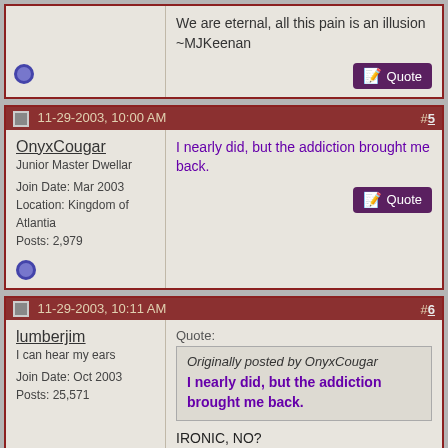We are eternal, all this pain is an illusion ~MJKeenan
#5 11-29-2003, 10:00 AM
OnyxCougar
Junior Master Dwellar
Join Date: Mar 2003
Location: Kingdom of Atlantia
Posts: 2,979
I nearly did, but the addiction brought me back.
#6 11-29-2003, 10:11 AM
lumberjim
I can hear my ears
Join Date: Oct 2003
Posts: 25,571
Quote:
Originally posted by OnyxCougar
I nearly did, but the addiction brought me back.

IRONIC, NO?

This body holding me reminds me of my own mortality
Embrace this moment, remember